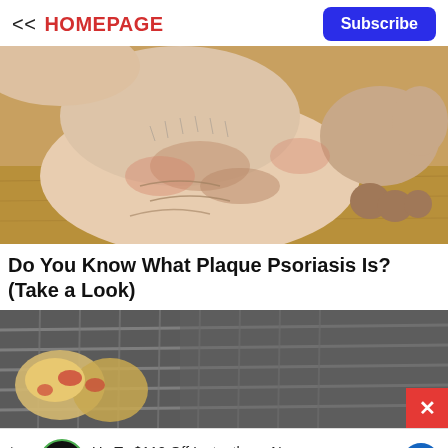<< HOMEPAGE
Subscribe
[Figure (photo): Close-up photograph of a human foot and ankle resting on a wooden floor, showing dry, scaly skin consistent with plaque psoriasis]
Do You Know What Plaque Psoriasis Is? (Take a Look)
[Figure (photo): Blurred photograph of food items on a metal rack or grill, with a red close (X) button in the bottom-right corner]
Up To $110 Off Instantly on New Tires + $40 Off Alignments